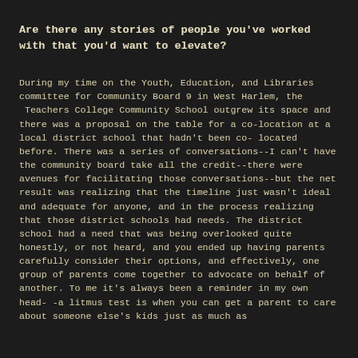Are there any stories of people you've worked with that you'd want to elevate?
During my time on the Youth, Education, and Libraries committee for Community Board 9 in West Harlem, the  Teachers College Community School outgrew its space and there was a proposal on the table for a co-location at a local district school that hadn't been co-located before. There was a series of conversations--I can't have the community board take all the credit--there were avenues for facilitating those conversations--but the net result was realizing that the timeline just wasn't ideal and adequate for anyone, and in the process realizing that those district schools had needs. The district school had a need that was being overlooked quite honestly, or not heard, and you ended up having parents carefully consider their options, and effectively, one group of parents come together to advocate on behalf of another. To me it's always been a reminder in my own head--a litmus test is when you can get a parent to care about someone else's kids just as much as